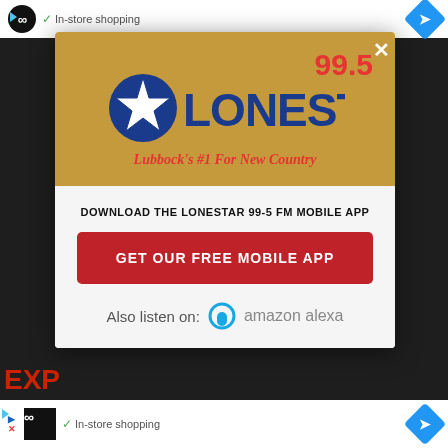[Figure (screenshot): Mobile web browser screenshot showing a popup modal for Lonestar 99.5 FM radio station over a dimmed background page. The modal has a gold header with the Lonestar logo, tagline 'Lubbock's #1 For New Country', a CTA button 'GET OUR FREE MOBILE APP', and an Amazon Alexa listen option. Top and bottom ad bars show an infinity loop icon, checkmark, 'In-store shopping' text, and a blue diamond navigation icon.]